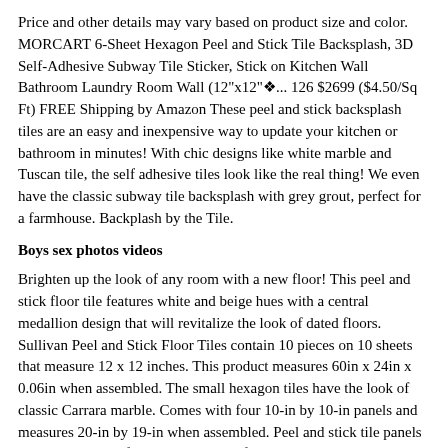Price and other details may vary based on product size and color. MORCART 6-Sheet Hexagon Peel and Stick Tile Backsplash, 3D Self-Adhesive Subway Tile Sticker, Stick on Kitchen Wall Bathroom Laundry Room Wall (12"x12"✦... 126 $2699 ($4.50/Sq Ft) FREE Shipping by Amazon These peel and stick backsplash tiles are an easy and inexpensive way to update your kitchen or bathroom in minutes! With chic designs like white marble and Tuscan tile, the self adhesive tiles look like the real thing! We even have the classic subway tile backsplash with grey grout, perfect for a farmhouse. Backplash by the Tile.
Boys sex photos videos
Brighten up the look of any room with a new floor! This peel and stick floor tile features white and beige hues with a central medallion design that will revitalize the look of dated floors. Sullivan Peel and Stick Floor Tiles contain 10 pieces on 10 sheets that measure 12 x 12 inches. This product measures 60in x 24in x 0.06in when assembled. The small hexagon tiles have the look of classic Carrara marble. Comes with four 10-in by 10-in panels and measures 20-in by 19-in when assembled. Peel and stick tile panels with a high shine finish; Comes with four 10-in by 10-in panels; A stove without a backing needs 15-in of space or more above range to avoid exposure of product to heat.;Peel and Stick Hexagon Tile Backsplash CM80312 (6pcs pack) Rated 4.86 out of 5 $ 39.99 $